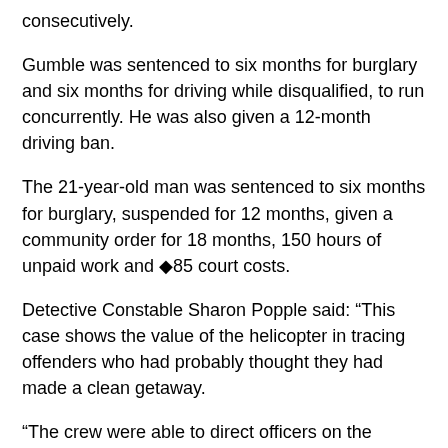…the months for a breach of a community order, to run consecutively.
Gumble was sentenced to six months for burglary and six months for driving while disqualified, to run concurrently. He was also given a 12-month driving ban.
The 21-year-old man was sentenced to six months for burglary, suspended for 12 months, given a community order for 18 months, 150 hours of unpaid work and ◆85 court costs.
Detective Constable Sharon Popple said: “This case shows the value of the helicopter in tracing offenders who had probably thought they had made a clean getaway.
“The crew were able to direct officers on the ground straight to the offenders and meant we could quickly arrest those responsible and return the stolen property